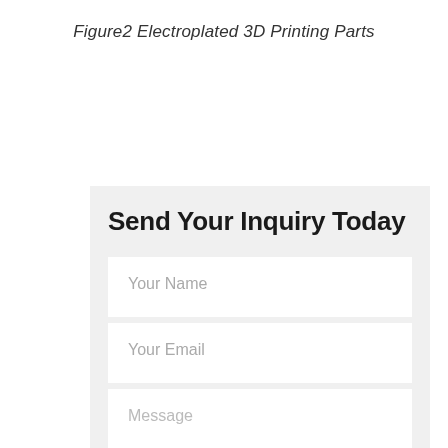Figure2 Electroplated 3D Printing Parts
[Figure (screenshot): A contact/inquiry form UI with title 'Send Your Inquiry Today' and fields for Your Name, Your Email, and Message on a light gray background.]